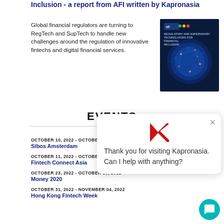Inclusion - a report from AFI written by Kapronasia
Global financial regulators are turning to RegTech and SupTech to handle new challenges around the regulation of innovative fintechs and digital financial services.
[Figure (photo): Book cover for Regulatory and Supervisory Technologies for Financial Inclusion report by AFI and Kapronasia, showing a globe with digital network overlay]
EVENTS
OCTOBER 10, 2022 - OCTOBER ... | Sibos Amsterdam
OCTOBER 11, 2022 - OCTOBER ... | Fintech Connect Asia
OCTOBER 23, 2022 - OCTOBER 26, 2022 | Money 2020
OCTOBER 31, 2022 - NOVEMBER 04, 2022 | Hong Kong Fintech Week
Thank you for visiting Kapronasia. Can I help with anything?